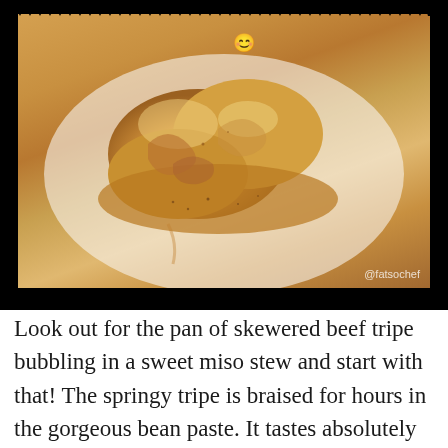[Figure (photo): Close-up photo of skewered beef tripe in a golden-brown sweet miso stew, with a scalloped stamp-style border. Watermark '@fatsochef' in bottom right. Small smiley emoji visible at top.]
Look out for the pan of skewered beef tripe bubbling in a sweet miso stew and start with that! The springy tripe is braised for hours in the gorgeous bean paste. It tastes absolutely wonderful! So good we had 2 orders of it! The only downside dining at Yaekatsu… you're pestered (albeit apologetically) to order and finish up quickly, so to accommodate the rest of the hungry people out in the queue! Guess its